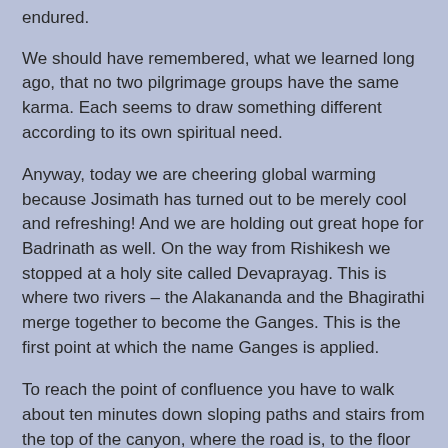endured.
We should have remembered, what we learned long ago, that no two pilgrimage groups have the same karma. Each seems to draw something different according to its own spiritual need.
Anyway, today we are cheering global warming because Josimath has turned out to be merely cool and refreshing! And we are holding out great hope for Badrinath as well. On the way from Rishikesh we stopped at a holy site called Devaprayag. This is where two rivers – the Alakananda and the Bhagirathi merge together to become the Ganges. This is the first point at which the name Ganges is applied.
To reach the point of confluence you have to walk about ten minutes down sloping paths and stairs from the top of the canyon, where the road is, to the floor of the valley where the river flows.
This has been a pilgrimage spot for generations so the walk down takes you through a small village and the path itself is lined with shops. Not only shops for pilgrims, but also shops